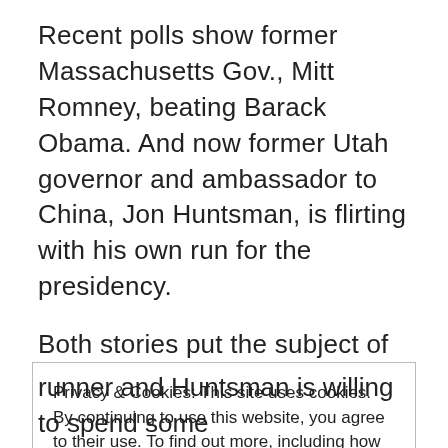Recent polls show former Massachusetts Gov., Mitt Romney, beating Barack Obama. And now former Utah governor and ambassador to China, Jon Huntsman, is flirting with his own run for the presidency.
Both stories put the subject of the Church of Jesus Christ of Latter-day Saints in the spotlight. Both men are Mormons. And both men are
Privacy & Cookies: This site uses cookies. By continuing to use this website, you agree to their use. To find out more, including how to control cookies, see here: Cookie Policy
Close and accept
runner and Huntsman is willing to spend some